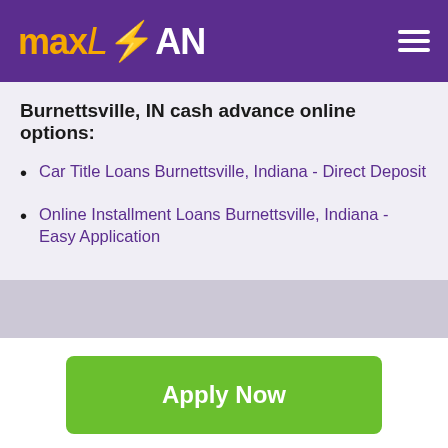maxLOAN
Burnettsville, IN cash advance online options:
Car Title Loans Burnettsville, Indiana - Direct Deposit
Online Installment Loans Burnettsville, Indiana - Easy Application
Apply Now
Applying does NOT affect your credit score! No credit check to apply.